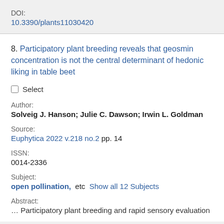DOI:
10.3390/plants11030420
8. Participatory plant breeding reveals that geosmin concentration is not the central determinant of hedonic liking in table beet
Select
Author:
Solveig J. Hanson; Julie C. Dawson; Irwin L. Goldman
Source:
Euphytica 2022 v.218 no.2 pp. 14
ISSN:
0014-2336
Subject:
open pollination,  etc  Show all 12 Subjects
Abstract:
… Participatory plant breeding and rapid sensory evaluation